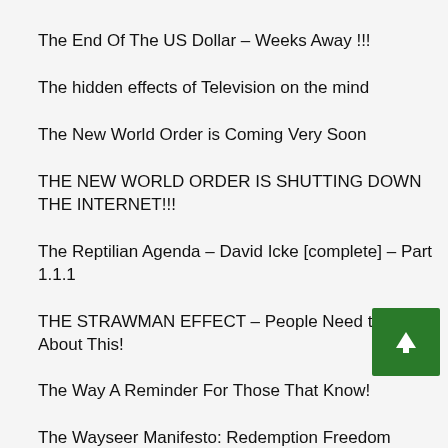The End Of The US Dollar – Weeks Away !!!
The hidden effects of Television on the mind
The New World Order is Coming Very Soon
THE NEW WORLD ORDER IS SHUTTING DOWN THE INTERNET!!!
The Reptilian Agenda – David Icke [complete] – Part 1.1.1
THE STRAWMAN EFFECT – People Need to Know About This!
The Way A Reminder For Those That Know!
The Wayseer Manifesto: Redemption Freedom